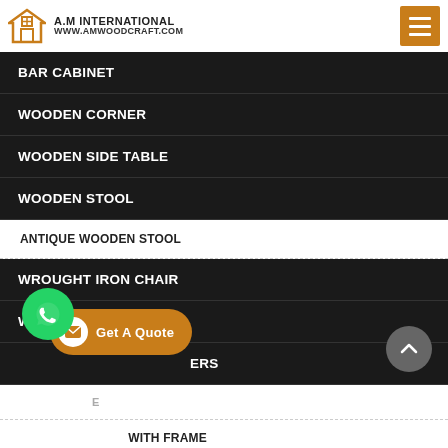A.M INTERNATIONAL www.amwoodcraft.com
BAR CABINET
WOODEN CORNER
WOODEN SIDE TABLE
WOODEN STOOL
ANTIQUE WOODEN STOOL
WROUGHT IRON CHAIR
WOODEN T.V UNIT
DRAWERS
WOODEN CONSOLE TABLE
GLASS TOP TABLE WITH FRAME
WOODEN CONSOLE TABLE